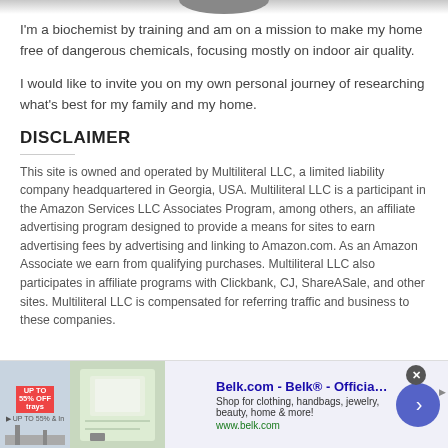[Figure (photo): Partial arc/curved shape visible at top of page, dark gray on white background]
I'm a biochemist by training and am on a mission to make my home free of dangerous chemicals, focusing mostly on indoor air quality.
I would like to invite you on my own personal journey of researching what's best for my family and my home.
DISCLAIMER
This site is owned and operated by Multiliteral LLC, a limited liability company headquartered in Georgia, USA. Multiliteral LLC is a participant in the Amazon Services LLC Associates Program, among others, an affiliate advertising program designed to provide a means for sites to earn advertising fees by advertising and linking to Amazon.com. As an Amazon Associate we earn from qualifying purchases. Multiliteral LLC also participates in affiliate programs with Clickbank, CJ, ShareASale, and other sites. Multiliteral LLC is compensated for referring traffic and business to these companies.
[Figure (other): Advertisement banner for Belk.com - Belk Official Site. Shows product images, text: 'Belk.com - Belk® - Official Site', 'Shop for clothing, handbags, jewelry, beauty, home & more!', 'www.belk.com']